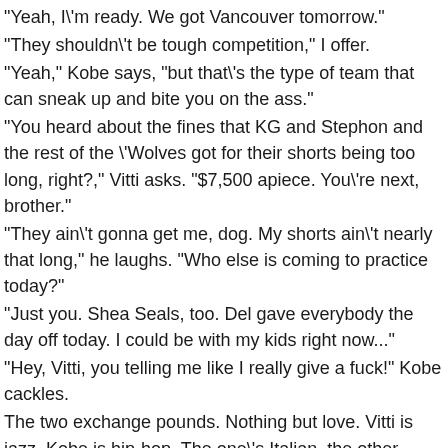"Yeah, I'm ready. We got Vancouver tomorrow."
"They shouldn't be tough competition," I offer.
"Yeah," Kobe says, "but that's the type of team that can sneak up and bite you on the ass."
"You heard about the fines that KG and Stephon and the rest of the 'Wolves got for their shorts being too long, right?," Vitti asks. "$7,500 apiece. You're next, brother."
"They ain't gonna get me, dog. My shorts ain't nearly that long," he laughs. "Who else is coming to practice today?"
"Just you. Shea Seals, too. Del gave everybody the day off today. I could be with my kids right now..."
"Hey, Vitti, you telling me like I really give a fuck!" Kobe cackles.
The two exchange pounds. Nothing but love. Vitti is jazz, Kobe is hip-hop. The one's Italian, the other speaks fluent Italian.